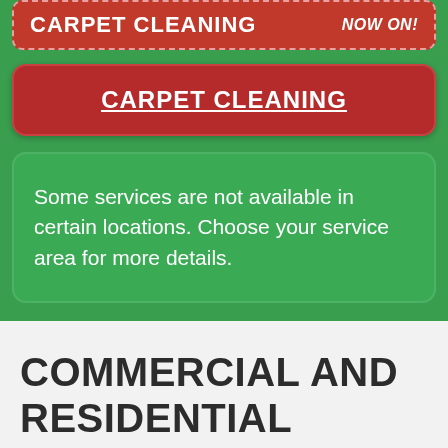CARPET CLEANING NOW ON!
CARPET CLEANING
Some services are not available in certain locations. Choose your service area for more details.
COMMERCIAL AND RESIDENTIAL RESTORATION